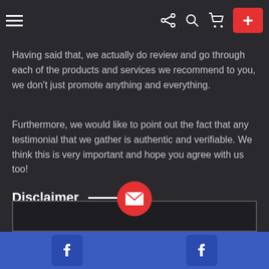Navigation bar with hamburger menu, share, search, cart icons, and a red plus button
Having said that, we actually do review and go through each of the products and services we recommend to you, we don't just promote anything and everything.
Furthermore, we would like to point out the fact that any testimonial that we gather is authentic and verifiable. We think this is very important and hope you agree with us too!
Disclaimer
This demo site is only for demonstration purposes. All images are copyrighted to their respective owners. All content cited is derived from their respective sources.
[Figure (screenshot): Bottom section with a bordered input box, a red email circle button, a blue footer bar with two Facebook icons]
Blue footer bar with two Facebook icon buttons